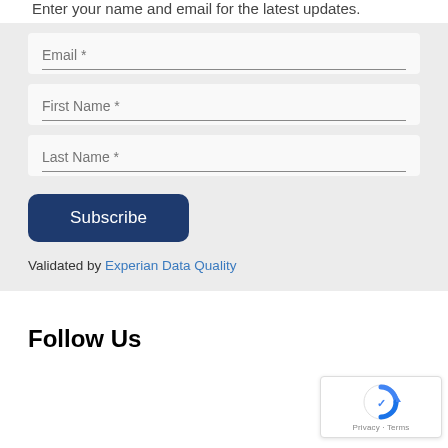Enter your name and email for the latest updates.
Email *
First Name *
Last Name *
Subscribe
Validated by Experian Data Quality
Follow Us